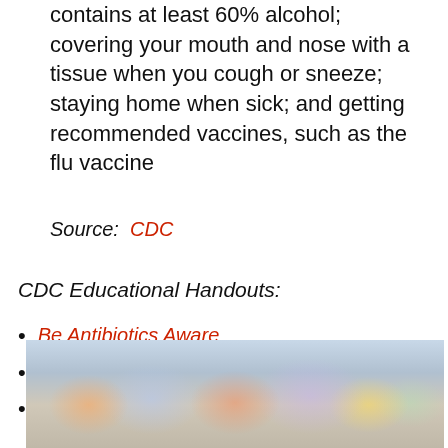seconds or using a hand sanitizer that contains at least 60% alcohol; covering your mouth and nose with a tissue when you cough or sneeze; staying home when sick; and getting recommended vaccines, such as the flu vaccine
Source:  CDC
CDC Educational Handouts:
Be Antibiotics Aware
Viruses or Bacteria - What’s got you sick?
Antibiotics Aren’t Always the Answer
[Figure (photo): Blurred photo of pharmacy shelves with colorful medicine bottles and packages]